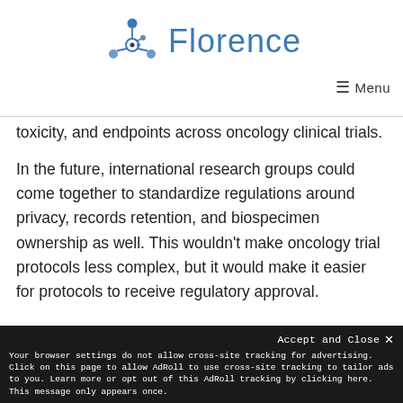Florence — Menu
toxicity, and endpoints across oncology clinical trials.
In the future, international research groups could come together to standardize regulations around privacy, records retention, and biospecimen ownership as well. This wouldn't make oncology trial protocols less complex, but it would make it easier for protocols to receive regulatory approval.
Accept and Close ✕ Your browser settings do not allow cross-site tracking for advertising. Click on this page to allow AdRoll to use cross-site tracking to tailor ads to you. Learn more or opt out of this AdRoll tracking by clicking here. This message only appears once.
become the norm, sponsors, CROs and